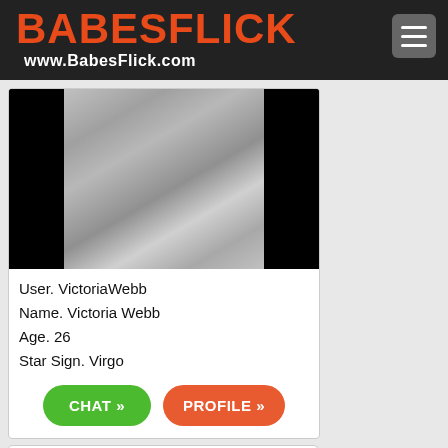BABESFLICK www.BabesFlick.com
[Figure (photo): Grayscale photo of a woman, flanked by black bars on left and right]
User. VictoriaWebb
Name. Victoria Webb
Age. 26
Star Sign. Virgo
CHAT »   PROFILE »